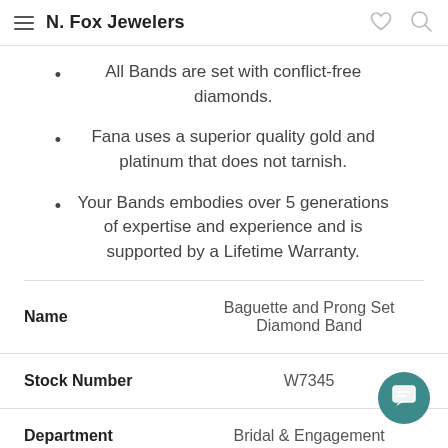N. Fox Jewelers
All Bands are set with conflict-free diamonds.
Fana uses a superior quality gold and platinum that does not tarnish.
Your Bands embodies over 5 generations of expertise and experience and is supported by a Lifetime Warranty.
| Name |  |
| --- | --- |
| Name | Baguette and Prong Set Diamond Band |
| Stock Number | W7345 |
| Department | Bridal & Engagement |
| Type | Band |
| Sub Type | Stackable |